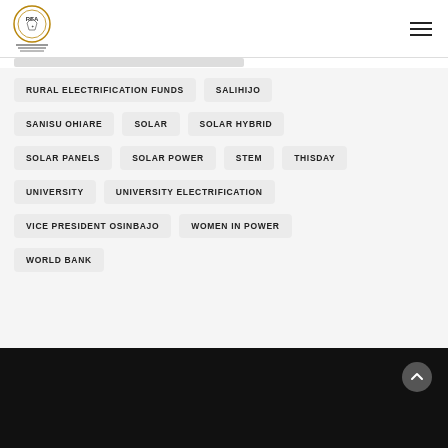[Figure (logo): REA (Rural Electrification Agency) Nigeria logo with crest and horizontal lines]
RURAL ELECTRIFICATION FUNDS
SALIHIJO
SANISU OHIARE
SOLAR
SOLAR HYBRID
SOLAR PANELS
SOLAR POWER
STEM
THISDAY
UNIVERSITY
UNIVERSITY ELECTRIFICATION
VICE PRESIDENT OSINBAJO
WOMEN IN POWER
WORLD BANK